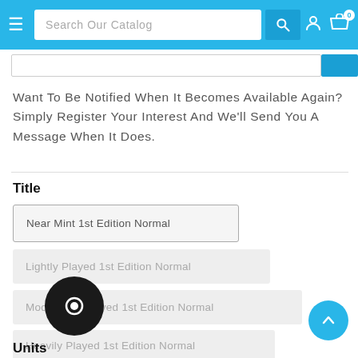Search Our Catalog
Want To Be Notified When It Becomes Available Again? Simply Register Your Interest And We'll Send You A Message When It Does.
Title
Near Mint 1st Edition Normal
Lightly Played 1st Edition Normal
Moderately Played 1st Edition Normal
Heavily Played 1st Edition Normal
...ed 1st Edition Normal
Units